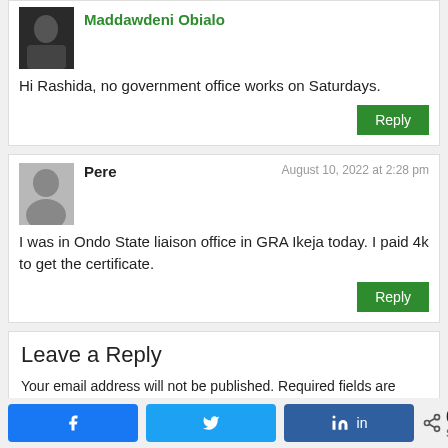Maddawdeni Obialo
Hi Rashida, no government office works on Saturdays.
Pere — August 10, 2022 at 2:28 pm
I was in Ondo State liaison office in GRA Ikeja today. I paid 4k to get the certificate.
Leave a Reply
Your email address will not be published. Required fields are marked *